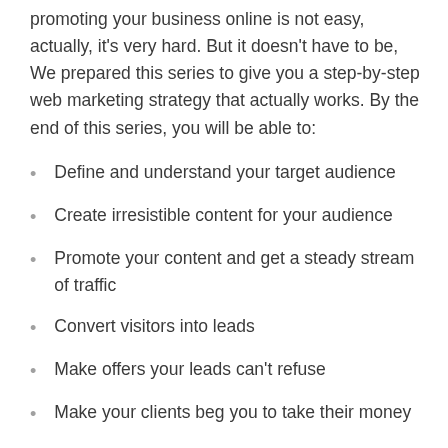promoting your business online is not easy, actually, it's very hard. But it doesn't have to be, We prepared this series to give you a step-by-step web marketing strategy that actually works. By the end of this series, you will be able to:
Define and understand your target audience
Create irresistible content for your audience
Promote your content and get a steady stream of traffic
Convert visitors into leads
Make offers your leads can't refuse
Make your clients beg you to take their money